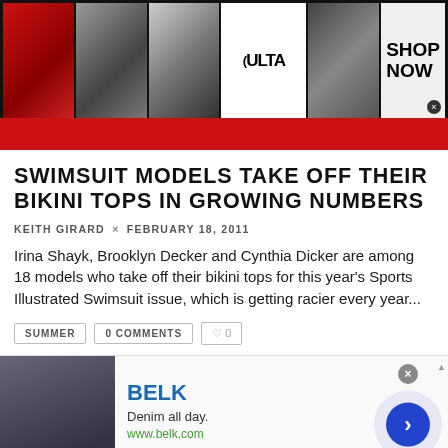[Figure (screenshot): Ulta Beauty advertisement banner with makeup/beauty images and 'SHOP NOW' call to action]
SWIMSUIT MODELS TAKE OFF THEIR BIKINI TOPS IN GROWING NUMBERS
KEITH GIRARD  ×  FEBRUARY 18, 2011
Irina Shayk, Brooklyn Decker and Cynthia Dicker are among 18 models who take off their bikini tops for this year's Sports Illustrated Swimsuit issue, which is getting racier every year...
SUMMER
0 COMMENTS
0
[Figure (screenshot): Belk advertisement - 'Denim all day. www.belk.com' with product image and navigation arrow]